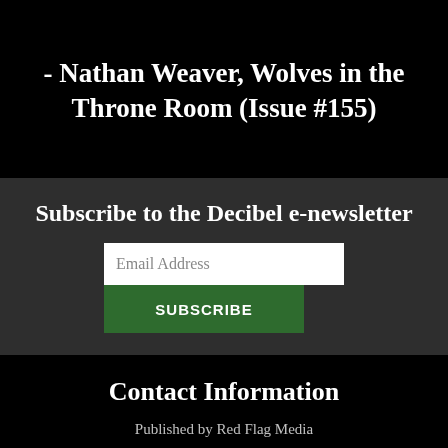- Nathan Weaver, Wolves in the Throne Room (Issue #155)
Subscribe to the Decibel e-newsletter
Email Address
SUBSCRIBE
Contact Information
Published by Red Flag Media
1032 Arch Street, 3rd Floor
Philadelphia, PA 19107
☎ (215) 625-9850